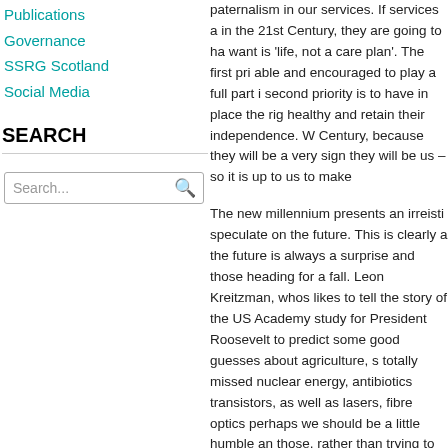Publications
Governance
SSRG Scotland
Social Media
SEARCH
paternalism in our services. If services a in the 21st Century, they are going to ha want is 'life, not a care plan'. The first pri able and encouraged to play a full part i second priority is to have in place the rig healthy and retain their independence. W Century, because they will be a very sign they will be us – so it is up to us to make
The new millennium presents an irreisti speculate on the future. This is clearly a the future is always a surprise and those heading for a fall. Leon Kreitzman, whos likes to tell the story of the US Academy study for President Roosevelt to predict some good guesses about agriculture, s totally missed nuclear energy, antibiotics transistors, as well as lasers, fibre optics perhaps we should be a little humble an those, rather than trying to think the unth
Current Influences
So what are the trends and influences w